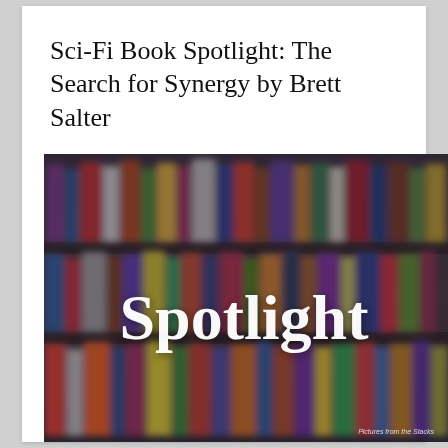Sci-Fi Book Spotlight: The Search for Synergy by Brett Salter
[Figure (photo): Blurred photo of colorful books on library shelves with the word 'Spotlight' overlaid in white script font. Photo credit reads: Pictures from the Stacks.]